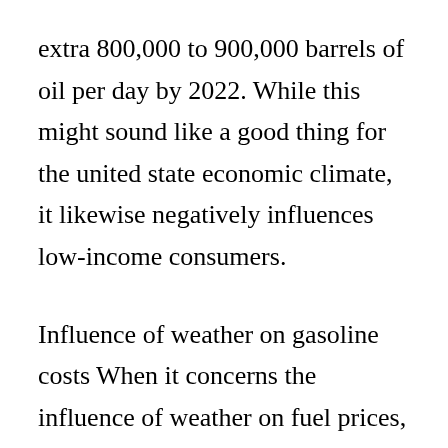extra 800,000 to 900,000 barrels of oil per day by 2022. While this might sound like a good thing for the united state economic climate, it likewise negatively influences low-income consumers.
Influence of weather on gasoline costs When it concerns the influence of weather on fuel prices, the effects are both seasonal and also regional. Cooler wintertimes raise gas prices while warmer, milder winters decrease